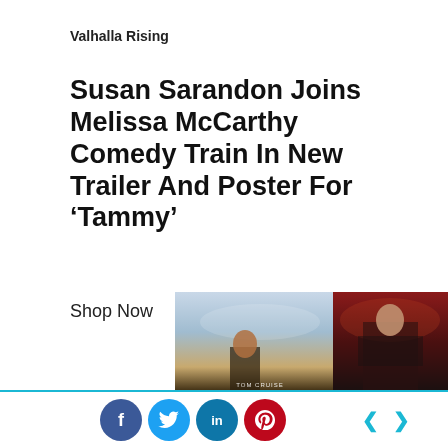Valhalla Rising
Susan Sarandon Joins Melissa McCarthy Comedy Train In New Trailer And Poster For ‘Tammy’
Shop Now
[Figure (photo): Movie poster showing action figure (Tom Cruise) with dramatic sky background]
[Figure (photo): Movie poster showing female figure in dark dramatic setting]
[Figure (infographic): Social media sharing bar with Facebook, Twitter, LinkedIn, Pinterest icons and navigation arrows]